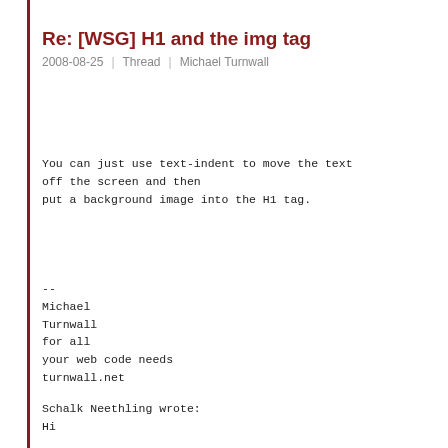Re: [WSG] H1 and the img tag
2008-08-25 | Thread | Michael Turnwall
You can just use text-indent to move the text off the screen and then put a background image into the H1 tag.

--
Michael
Turnwall
for all
your web code needs
turnwall.net
Schalk Neethling wrote:
Hi